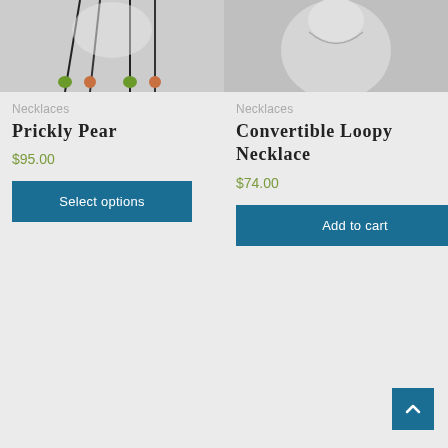[Figure (photo): Product image of Prickly Pear necklace with colorful beads on dark cords displayed on a light background]
Necklaces
Prickly Pear
$95.00
Select options
[Figure (photo): Product image of Convertible Loopy Necklace on a mannequin bust with a light background]
Necklaces
Convertible Loopy Necklace
$74.00
Add to cart